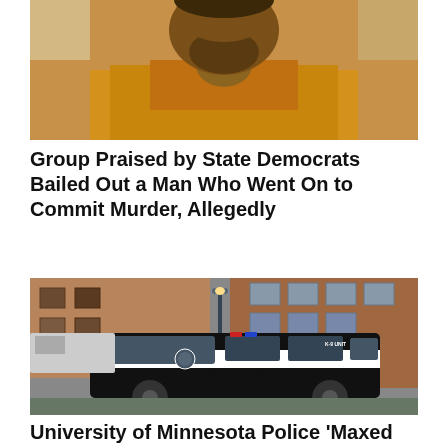[Figure (photo): Close-up photo of a man wearing an orange/yellow jacket, photographed from shoulders up, with a beard, in what appears to be a courtroom or formal setting.]
Group Praised by State Democrats Bailed Out a Man Who Went On to Commit Murder, Allegedly
[Figure (photo): University of Minnesota Police black and white SUV patrol vehicle (K-9 Unit) parked on a street in front of brick buildings, with text reading 'University of Minnesota' and 'Criminal Entry Brock' on the door.]
University of Minnesota Police 'Maxed Out'